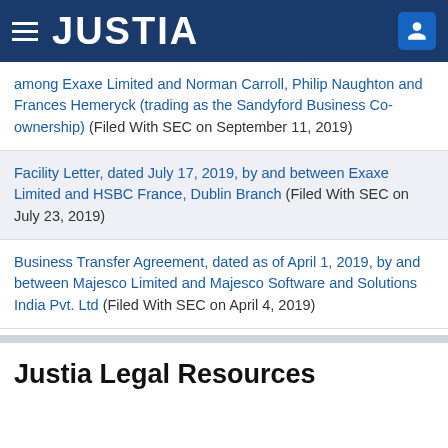JUSTIA
among Exaxe Limited and Norman Carroll, Philip Naughton and Frances Hemeryck (trading as the Sandyford Business Co-ownership) (Filed With SEC on September 11, 2019)
Facility Letter, dated July 17, 2019, by and between Exaxe Limited and HSBC France, Dublin Branch (Filed With SEC on July 23, 2019)
Business Transfer Agreement, dated as of April 1, 2019, by and between Majesco Limited and Majesco Software and Solutions India Pvt. Ltd (Filed With SEC on April 4, 2019)
Justia Legal Resources